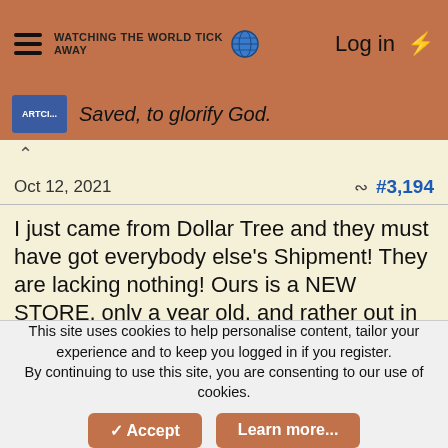WATCHING THE WORLD TICK AWAY | Log in
Saved, to glorify God.
Oct 12, 2021   #3,194
I just came from Dollar Tree and they must have got everybody else's Shipment! They are lacking nothing! Ours is a NEW STORE, only a year old, and rather out in the boonies.
Oh, I forgot kitchen rubber gloves..Oh they WERE out of something, cotton balls. Thats it just cotten balls.
This site uses cookies to help personalise content, tailor your experience and to keep you logged in if you register. By continuing to use this site, you are consenting to our use of cookies.